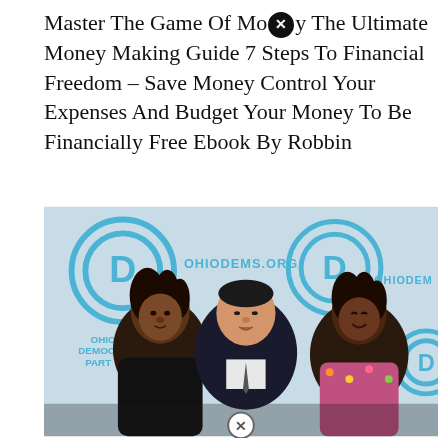Master The Game Of Mo⊗y The Ultimate Money Making Guide 7 Steps To Financial Freedom – Save Money Control Your Expenses And Budget Your Money To Be Financially Free Ebook By Robbin
[Figure (photo): Photo of three people posing together in front of an Ohio Democratic Party banner/backdrop showing the Democratic 'D' logo and text reading OHIODEMS.ORG, OHIO DEMOCRATIC PARTY. Two people on either side wearing dark clothing, center person in a suit with white shirt. A close/X button icon is visible at the bottom center of the image.]